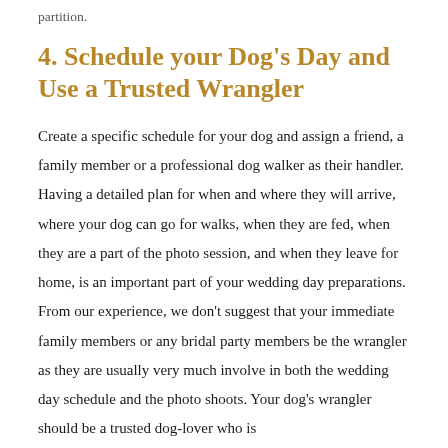partition.
4. Schedule your Dog's Day and Use a Trusted Wrangler
Create a specific schedule for your dog and assign a friend, a family member or a professional dog walker as their handler. Having a detailed plan for when and where they will arrive, where your dog can go for walks, when they are fed, when they are a part of the photo session, and when they leave for home, is an important part of your wedding day preparations. From our experience, we don't suggest that your immediate family members or any bridal party members be the wrangler as they are usually very much involve in both the wedding day schedule and the photo shoots. Your dog's wrangler should be a trusted dog-lover who is